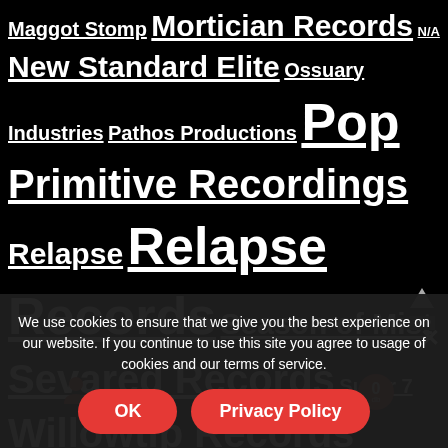Maggot Stomp Mortician Records N/A New Standard Elite Ossuary Industries Pathos Productions Pop Primitive Recordings Relapse Relapse Records Season of Mist Sevared Records Super 7 Willowtip Records
Featured Metal
Zombie Apocalypse Digipak REISSUE
Price $12.00
[Figure (photo): Album cover art with teal/blue tones showing a figure, Mortician band logo visible at top]
Breeding Salvation
Price $10.99
We use cookies to ensure that we give you the best experience on our website. If you continue to use this site you agree to usage of cookies and our terms of service.